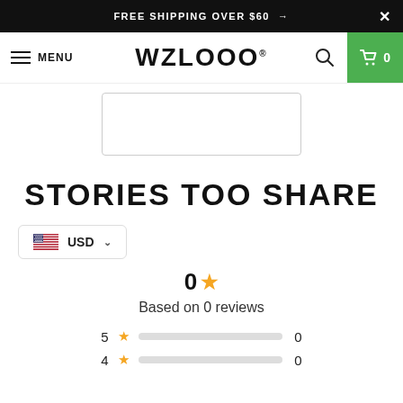FREE SHIPPING OVER $60  →  ✕
≡ MENU  WZLOOO®  🔍  🛒 0
[Figure (other): White product image box with border]
STORIES TOO SHARE
USD ▾ (currency selector with US flag)
0 ★
Based on 0 reviews
5 ★  ━━━━━━━━━━━━━━━━━━━━  0
4 ★  0